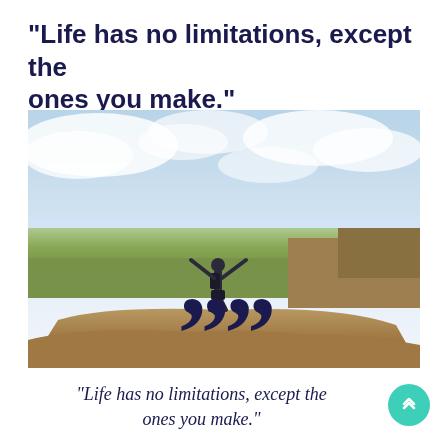"Life has no limitations, except the ones you make."
[Figure (photo): Person standing on a rocky mountain ledge with arms raised wide against a dramatic cloudy sky and a vast landscape valley below.]
””
"Life has no limitations, except the ones you make."